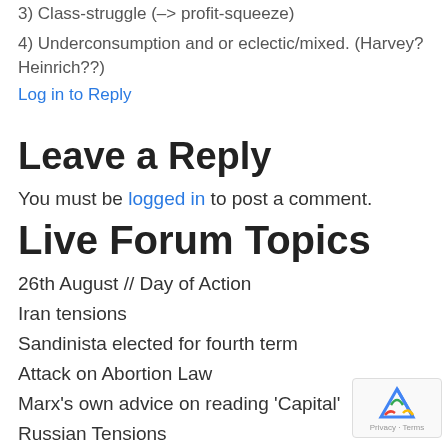3) Class-struggle (–> profit-squeeze)
4) Underconsumption and or eclectic/mixed. (Harvey? Heinrich??)
Log in to Reply
Leave a Reply
You must be logged in to post a comment.
Live Forum Topics
26th August // Day of Action
Iran tensions
Sandinista elected for fourth term
Attack on Abortion Law
Marx's own advice on reading 'Capital'
Russian Tensions
Biden is President